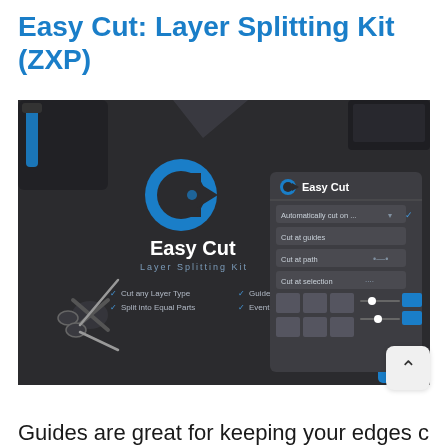Easy Cut: Layer Splitting Kit (ZXP)
[Figure (screenshot): Screenshot of Easy Cut Layer Splitting Kit Photoshop extension panel. Shows dark UI with blue circular logo, 'Easy Cut' text, 'Layer Splitting Kit' subtitle, checkmarks for features: Cut any Layer Type, Split into Equal Parts, Guide Path or Selection, Event based Auto-Cutting. Right side shows the extension panel with options: Automatically cut on..., Cut at guides, Cut at path, Cut at selection, and a grid/slider UI.]
Guides are great for keeping your edges clear